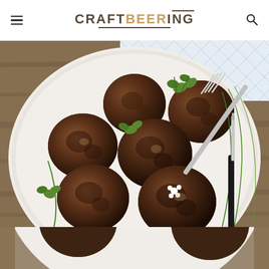CRAFTBEERING
[Figure (photo): Overhead view of multiple browned meatballs arranged on a white ceramic plate, garnished with fresh parsley and green herbs, with a fork and knife resting on the plate. A blue and white checkered cloth napkin is visible in the background on a wooden surface.]
[Figure (photo): Partial bottom view of the same plate of meatballs, cropped at the bottom of the page.]